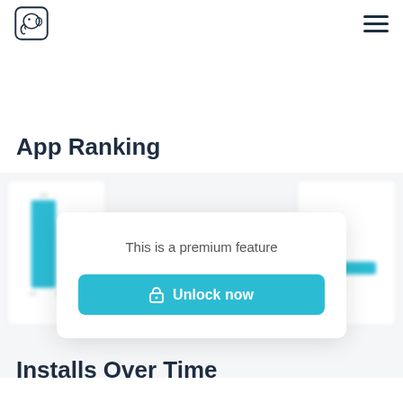App logo and navigation menu
App Ranking
[Figure (screenshot): Blurred app ranking chart panels with a premium feature overlay modal containing the text 'This is a premium feature' and an 'Unlock now' button]
Installs Over Time